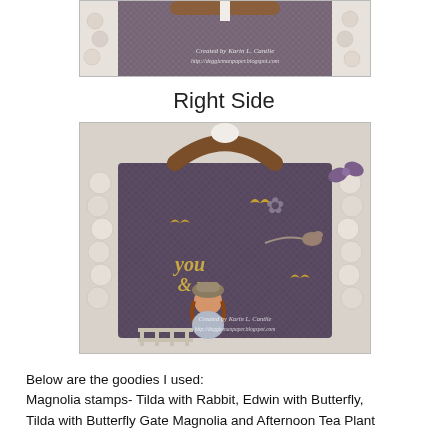[Figure (photo): Top portion of a decorated craft handbag/purse showing close-up detail with a watermark credit overlay reading 'Created by Karin L. Cantlie' and a blog URL]
Right Side
[Figure (photo): Decorated craft handbag showing the right side with purple/dark fabric, a wooden handle, white fabric roses around the border, a Magnolia Tilda doll stamp image, butterflies, birds, tree branch decorations, and 'you & me' sentiment. Watermark reads 'Created by Karin L. Cantlie' with blog URL.]
Below are the goodies I used:
Magnolia stamps- Tilda with Rabbit, Edwin with Butterfly, Tilda with Butterfly Gate Magnolia and Afternoon Tea Plant